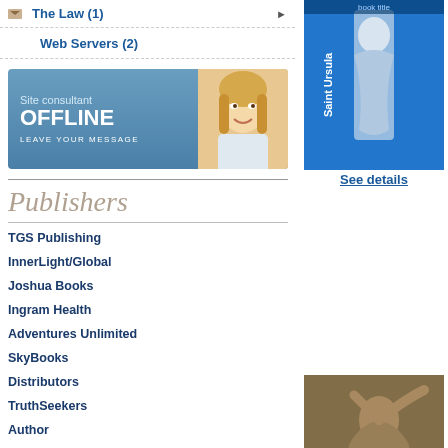The Law (1)
Web Servers (2)
[Figure (photo): Site consultant OFFLINE banner with blonde woman and text LEAVE YOUR MESSAGE]
[Figure (photo): Book cover Saint Ursula with statue on blue background]
See details
Publishers
TGS Publishing
InnerLight/Global
Joshua Books
Ingram Health
Adventures Unlimited
SkyBooks
Distributors
TruthSeekers
Author
[Figure (photo): Book cover Moll Flanders by Daniel Defoe with classical painting]
See details